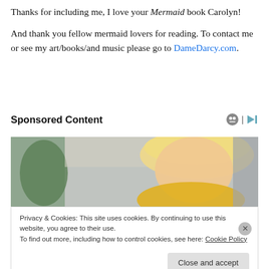Thanks for including me, I love your Mermaid book Carolyn!

And thank you fellow mermaid lovers for reading. To contact me or see my art/books/and music please go to DameDarcy.com.
Sponsored Content
[Figure (photo): A blonde woman looking downward, wearing a yellow top, with green plants and gray background visible.]
Privacy & Cookies: This site uses cookies. By continuing to use this website, you agree to their use.
To find out more, including how to control cookies, see here: Cookie Policy
Close and accept